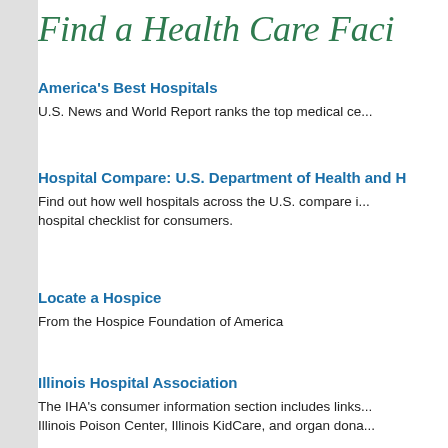Find a Health Care Faci...
America's Best Hospitals
U.S. News and World Report ranks the top medical ce...
Hospital Compare: U.S. Department of Health and H...
Find out how well hospitals across the U.S. compare i... hospital checklist for consumers.
Locate a Hospice
From the Hospice Foundation of America
Illinois Hospital Association
The IHA's consumer information section includes links... Illinois Poison Center, Illinois KidCare, and organ dona...
Illinois Hospital Report Card...